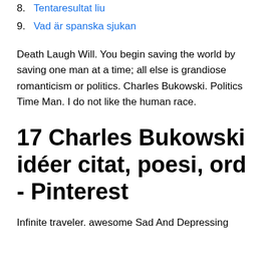8. Tentaresultat liu
9. Vad är spanska sjukan
Death Laugh Will. You begin saving the world by saving one man at a time; all else is grandiose romanticism or politics. Charles Bukowski. Politics Time Man. I do not like the human race.
17 Charles Bukowski idéer citat, poesi, ord - Pinterest
Infinite traveler. awesome Sad And Depressing